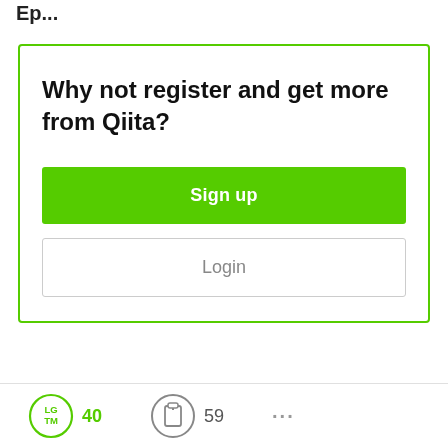Why not register and get more from Qiita?
Sign up
Login
LGTM 40  [clipboard icon] 59  ...